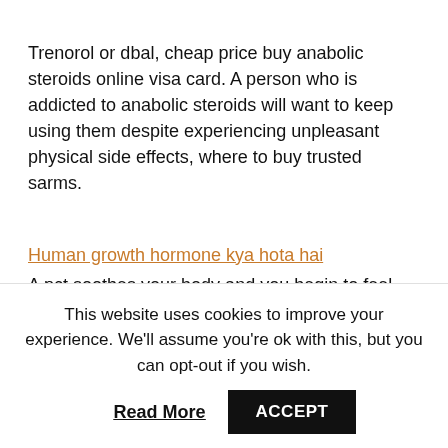Trenorol or dbal, cheap price buy anabolic steroids online visa card. A person who is addicted to anabolic steroids will want to keep using them despite experiencing unpleasant physical side effects, where to buy trusted sarms.
Human growth hormone kya hota hai
A pct soothes your body and you begin to feel fresh with a beautiful body achievement through the use of ligandrol and a good diet and exercise. Here are five of the top things to know about the unapproved sarm. Customers'
This website uses cookies to improve your experience. We'll assume you're ok with this, but you can opt-out if you wish.
Read More  ACCEPT